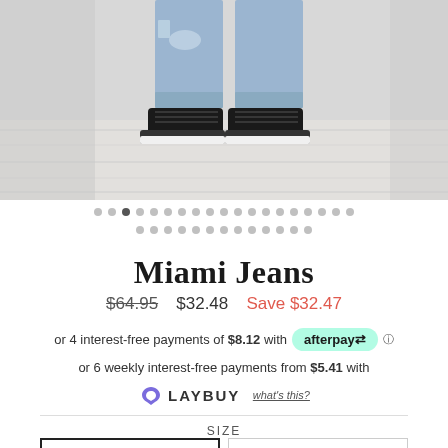[Figure (photo): Photo of person wearing light blue distressed jeans with cuffed bottoms and black high-top sneakers, shown from knees down on white wooden floor background]
Miami Jeans
$64.95  $32.48  Save $32.47
or 4 interest-free payments of $8.12 with afterpay
or 6 weekly interest-free payments from $5.41 with LAYBUY what's this?
SIZE